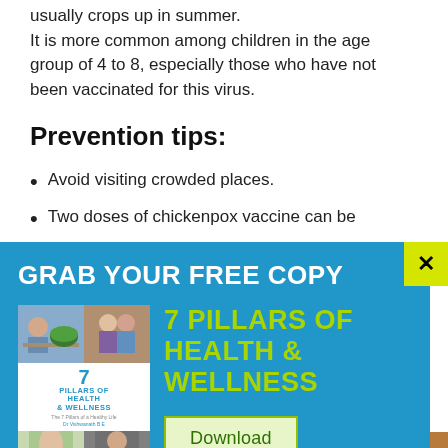usually crops up in summer. It is more common among children in the age group of 4 to 8, especially those who have not been vaccinated for this virus.
Prevention tips:
Avoid visiting crowded places.
Two doses of chickenpox vaccine can be
[Figure (illustration): Popup advertisement with blue background. Close button (X) in yellow-green top right. Title: GRAB YOUR FREE COPY. Book cover image for '7 Pillars of Health & Wellness'. Book subtitle text: 7 PILLARS OF HEALTH & WELLNESS in green. Download button in light green.]